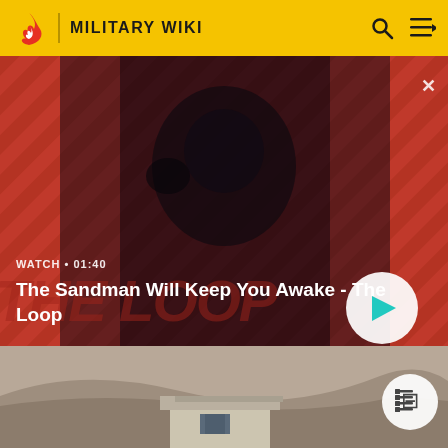MILITARY WIKI
[Figure (screenshot): Video thumbnail with red and black diagonal stripes background, dark-clad figure with a black bird on shoulder, overlaid with 'WATCH · 01:40' label and title 'The Sandman Will Keep You Awake - The Loop', with a circular play button on the right]
WATCH · 01:40
The Sandman Will Keep You Awake - The Loop
[Figure (photo): Photograph of a small building or guard post structure against a dusty, arid hillside background]